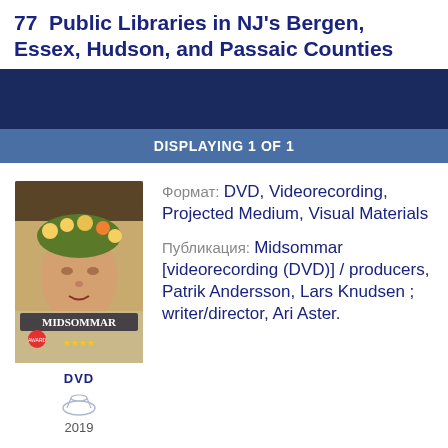77 Public Libraries in NJ's Bergen, Essex, Hudson, and Passaic Counties
DISPLAYING 1 OF 1
[Figure (photo): DVD cover of Midsommar movie with woman's face surrounded by flowers, 4 stars rating shown at bottom]
DVD
2019
Формат: DVD, Videorecording, Projected Medium, Visual Materials
Публикация: Midsommar [videorecording (DVD)] / producers, Patrik Andersson, Lars Knudsen ; writer/director, Ari Aster.